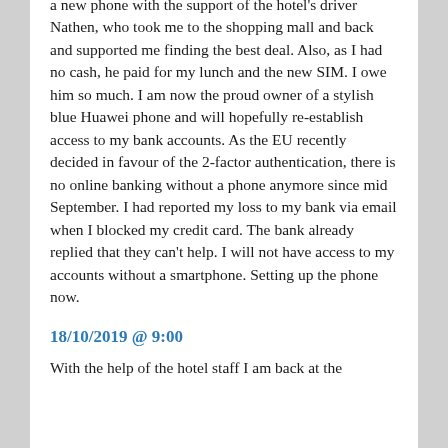a new phone with the support of the hotel's driver Nathen, who took me to the shopping mall and back and supported me finding the best deal.  Also, as I had no cash, he paid for my lunch and the new SIM. I owe him so much. I am now the proud owner of a stylish blue Huawei phone and will hopefully re-establish access to my bank accounts. As the EU recently decided  in favour of the 2-factor authentication, there is no online banking without a phone anymore since mid September. I had reported my loss to my bank via email when I blocked my credit card. The bank already replied that they can't help.  I will not have access to my accounts without a smartphone. Setting up the phone now.
18/10/2019 @ 9:00
With the help of the hotel staff I am back at the